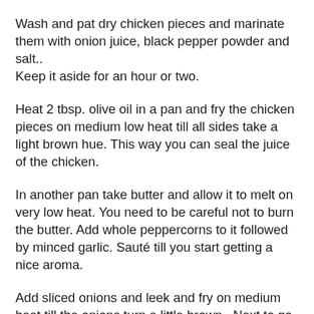Wash and pat dry chicken pieces and marinate them with onion juice, black pepper powder and salt.. Keep it aside for an hour or two.
Heat 2 tbsp. olive oil in a pan and fry the chicken pieces on medium low heat till all sides take a light brown hue. This way you can seal the juice of the chicken.
In another pan take butter and allow it to melt on very low heat. You need to be careful not to burn the butter. Add whole peppercorns to it followed by minced garlic. Sauté till you start getting a nice aroma.
Add sliced onions and leek and fry on medium heat till the onions turn a little brown.. Next to go in are the tomato slices.. Fry on medium heat till the tomato starts to melt.. Turn off the heat and let the mixture cool down and come to the room temperature..
Put the fried mixture in a blender and blend it for half a minute.. Now strain the blended mixture through a strainer